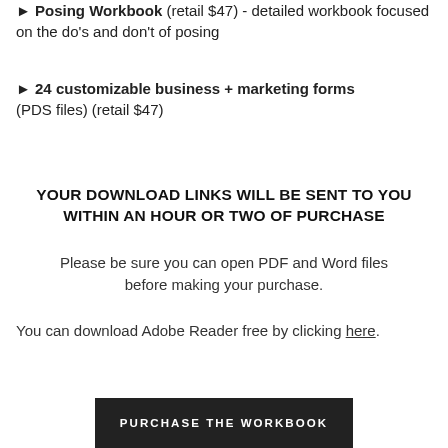► Posing Workbook (retail $47) - detailed workbook focused on the do's and don't of posing
► 24 customizable business + marketing forms (PDS files) (retail $47)
YOUR DOWNLOAD LINKS WILL BE SENT TO YOU WITHIN AN HOUR OR TWO OF PURCHASE
Please be sure you can open PDF and Word files before making your purchase.
You can download Adobe Reader free by clicking here.
PURCHASE THE WORKBOOK